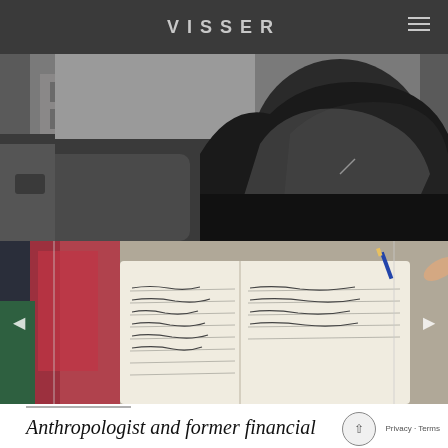VISSER
[Figure (photo): Black and white photo of a person with long hair leaning against a car door, viewed from inside the vehicle. Buildings visible through the car window in background.]
[Figure (photo): Color photo showing hands writing in a notebook with a pen, red bag visible in background, blurred background.]
Anthropologist and former financial